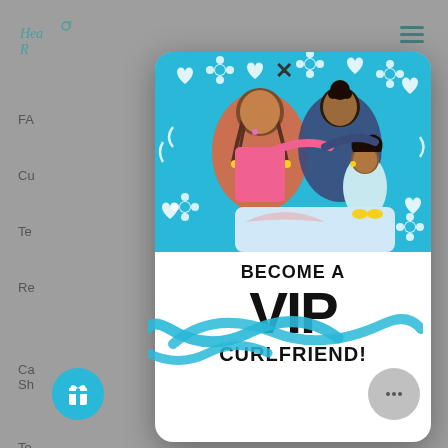[Figure (screenshot): Website screenshot with a modal popup overlay. Background shows a gray website with partial navigation links and a teal/green script logo. A white rounded-corner modal card is overlaid, containing a photo of children hugging dolls against a blue background with white hearts and flowers pattern, followed by bold text.]
BECOME A VIP CURLFRIEND!